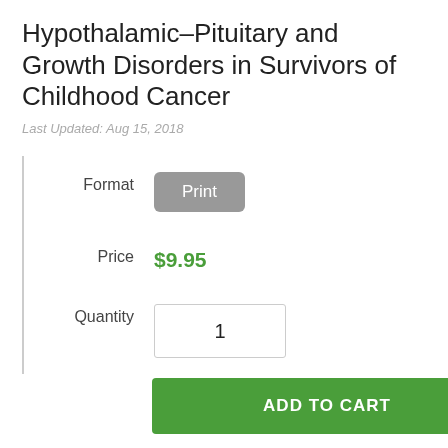Hypothalamic–Pituitary and Growth Disorders in Survivors of Childhood Cancer
Last Updated: Aug 15, 2018
Format
Print
Price
$9.95
Quantity
1
ADD TO CART
Hyperglycemia in Hospitalized Adult Patients